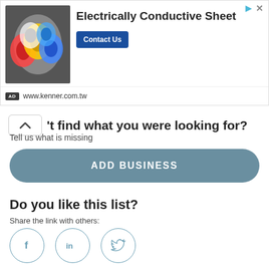[Figure (screenshot): Advertisement banner for Electrically Conductive Sheet by kenner.com.tw, showing rolls of colored tape/sheets on left, bold title text in center, a 'Contact Us' blue button, and the website URL at bottom of the ad.]
Can't find what you were looking for?
Tell us what is missing
ADD BUSINESS
Do you like this list?
Share the link with others:
[Figure (illustration): Three social media share buttons in circular outlines: Facebook (f), LinkedIn (in), and Twitter (bird icon), colored in steel blue.]